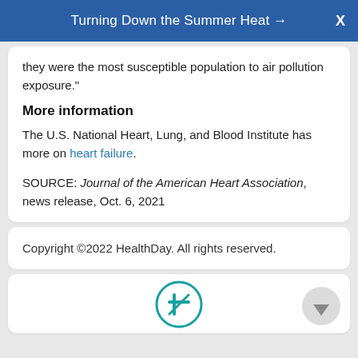Turning Down the Summer Heat →
they were the most susceptible population to air pollution exposure."
More information
The U.S. National Heart, Lung, and Blood Institute has more on heart failure.
SOURCE: Journal of the American Heart Association, news release, Oct. 6, 2021
Copyright ©2022 HealthDay. All rights reserved.